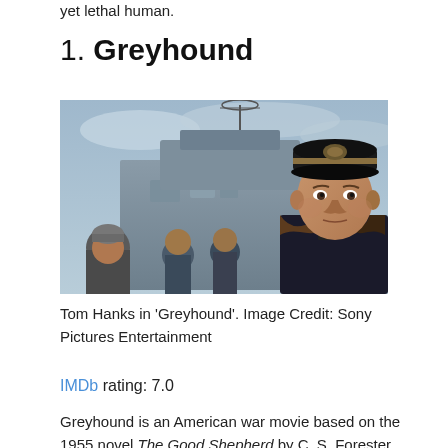yet lethal human.
1. Greyhound
[Figure (photo): Tom Hanks in military naval officer uniform with cap, standing on a ship deck with other crew members and ship equipment in the background. Scene from the movie Greyhound.]
Tom Hanks in ‘Greyhound’. Image Credit: Sony Pictures Entertainment
IMDb rating: 7.0
Greyhound is an American war movie based on the 1955 novel The Good Shepherd by C. S. Forester.